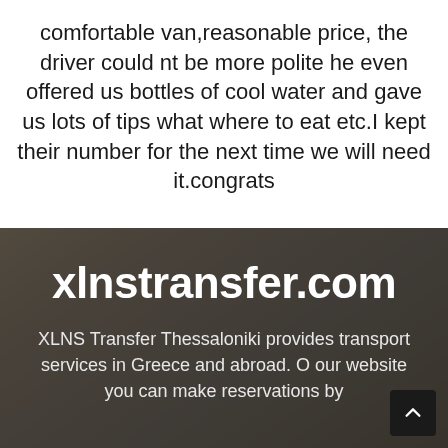comfortable van,reasonable price, the driver could nt be more polite he even offered us bottles of cool water and gave us lots of tips what where to eat etc.I kept their number for the next time we will need it.congrats
[Figure (photo): Background photo of a vehicle/van under a covered area, darkened with overlay. Contains xlnstransfer.com website title and description text overlay.]
xlnstransfer.com
XLNS Transfer Thessaloniki provides transport services in Greece and abroad. O our website you can make reservations by